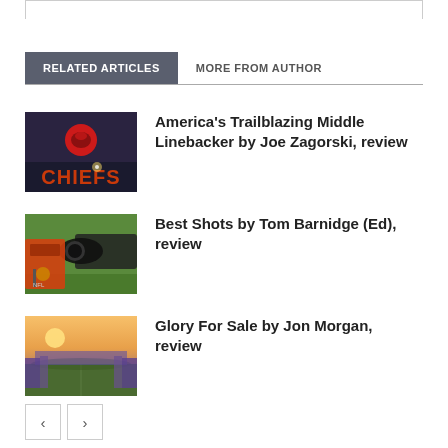RELATED ARTICLES
MORE FROM AUTHOR
[Figure (photo): Kansas City Chiefs logo/sign with red letters on dark background]
America's Trailblazing Middle Linebacker by Joe Zagorski, review
[Figure (photo): Person with camera photographing on NFL sideline]
Best Shots by Tom Barnidge (Ed), review
[Figure (photo): Aerial view of football stadium with sunlight]
Glory For Sale by Jon Morgan, review